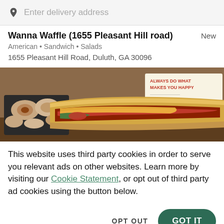Enter delivery address
Wanna Waffle (1655 Pleasant Hill road)
American • Sandwich • Salads
1655 Pleasant Hill Road, Duluth, GA 30096
[Figure (photo): Food photo showing subs/sandwiches and side items from Mike's Subs restaurant, with a sign reading 'ALWAYS DO WHAT MAKES YOU HAPPY']
This website uses third party cookies in order to serve you relevant ads on other websites. Learn more by visiting our Cookie Statement, or opt out of third party ad cookies using the button below.
OPT OUT
GOT IT